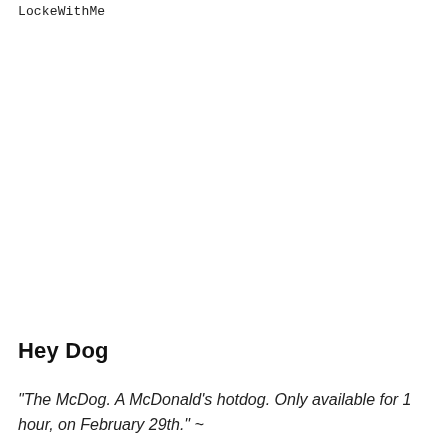LockeWithMe
Hey Dog
"The McDog. A McDonald's hotdog. Only available for 1 hour, on February 29th." ~